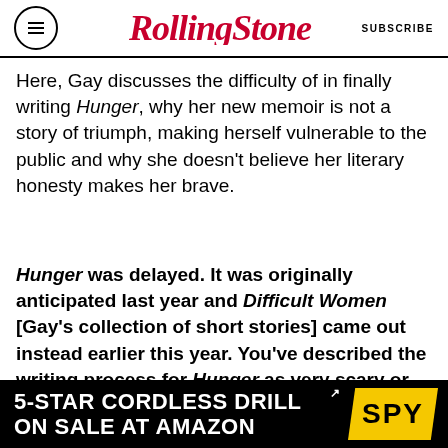RollingStone | SUBSCRIBE
Here, Gay discusses the difficulty of in finally writing Hunger, why her new memoir is not a story of triumph, making herself vulnerable to the public and why she doesn't believe her literary honesty makes her brave.
Hunger was delayed. It was originally anticipated last year and Difficult Women [Gay's collection of short stories] came out instead earlier this year. You've described the writing process for Hunger as very scary or difficult. Why was it scary to write this particular memoir about your life?
I never really planned on writing memoir. I was
[Figure (screenshot): Advertisement banner: 5-STAR CORDLESS DRILL ON SALE AT AMAZON with SPY logo on yellow background]